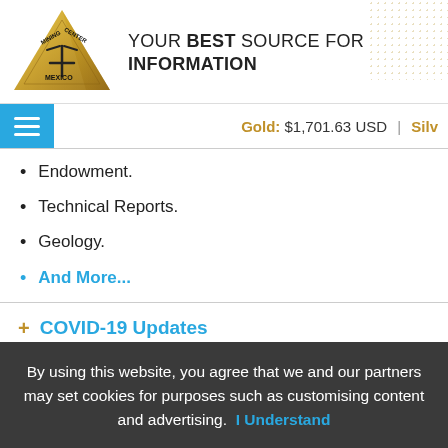[Figure (logo): Mining Center Mexico triangular gold logo with pickaxe icon]
YOUR BEST SOURCE FOR INFORMATION
Gold: $1,701.63 USD | Silv
Endowment.
Technical Reports.
Geology.
And More...
+ COVID-19 Updates
+ Mining Sector Directory
+ Mining State Panoramas
By using this website, you agree that we and our partners may set cookies for purposes such as customising content and advertising. I Understand